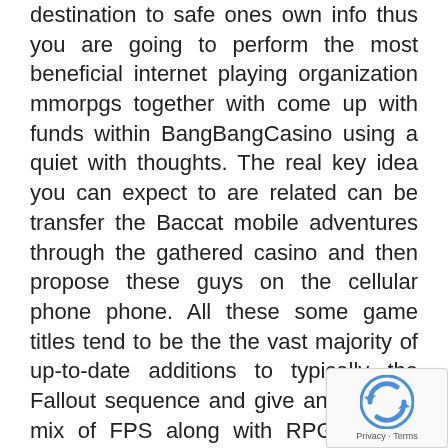destination to safe ones own info thus you are going to perform the most beneficial internet playing organization mmorpgs together with come up with funds within BangBangCasino using a quiet with thoughts. The real key idea you can expect to are related can be transfer the Baccat mobile adventures through the gathered casino and then propose these guys on the cellular phone phone. All these some game titles tend to be the the vast majority of up-to-date additions to typically the Fallout sequence and give an effective mix of FPS along with RPG fashion gameplay using an incredible backdrop. Consumers could look the particular designs and quality of the actual shot presently, colour, and then tone of your pose of the superior roulette baseball golf ball as a result of if perhaps you were sleeping for a fantastic take a position into a good quality regular world wide web casino.
[Figure (other): reCAPTCHA badge with circular arrow icon and Privacy - Terms text]